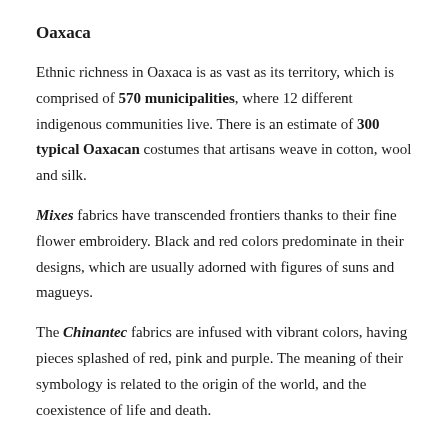Oaxaca
Ethnic richness in Oaxaca is as vast as its territory, which is comprised of 570 municipalities, where 12 different indigenous communities live. There is an estimate of 300 typical Oaxacan costumes that artisans weave in cotton, wool and silk.
Mixes fabrics have transcended frontiers thanks to their fine flower embroidery. Black and red colors predominate in their designs, which are usually adorned with figures of suns and magueys.
The Chinantec fabrics are infused with vibrant colors, having pieces splashed of red, pink and purple. The meaning of their symbology is related to the origin of the world, and the coexistence of life and death.